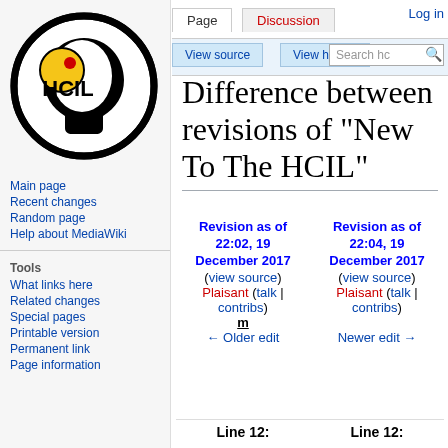[Figure (logo): HCIL (Human-Computer Interaction Lab) circular logo with a stylized head silhouette, yellow circle, and red dot]
Main page
Recent changes
Random page
Help about MediaWiki
Tools
What links here
Related changes
Special pages
Printable version
Permanent link
Page information
Log in
Difference between revisions of "New To The HCIL"
| Revision as of 22:02, 19 December 2017 (view source) | Revision as of 22:04, 19 December 2017 (view source) |
| --- | --- |
| Plaisant (talk | contribs) | Plaisant (talk | contribs) |
| m
← Older edit | Newer edit → |
Line 12:	Line 12: